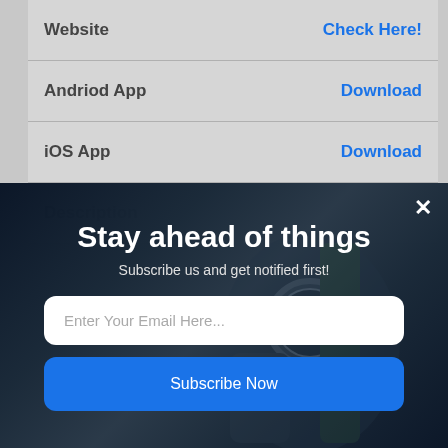| Website | Check Here! |
| Andriod App | Download |
| iOS App | Download |
| Description |  |
[Figure (screenshot): A modal popup overlay on a dark background showing a newsletter subscription form with title 'Stay ahead of things', subtitle 'Subscribe us and get notified first!', an email input field, and a blue 'Subscribe Now' button. A close (X) button is in the top right corner.]